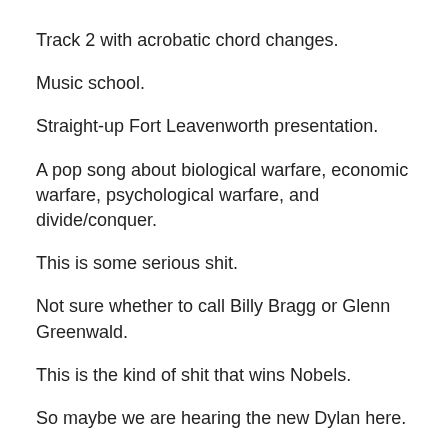Track 2 with acrobatic chord changes.
Music school.
Straight-up Fort Leavenworth presentation.
A pop song about biological warfare, economic warfare, psychological warfare, and divide/conquer.
This is some serious shit.
Not sure whether to call Billy Bragg or Glenn Greenwald.
This is the kind of shit that wins Nobels.
So maybe we are hearing the new Dylan here.
Imagine if Thom Yorke actually had something to say.
The kend…